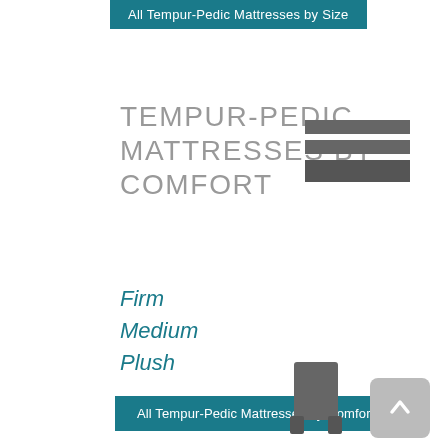All Tempur-Pedic Mattresses by Size
TEMPUR-PEDIC MATTRESSES BY COMFORT
[Figure (other): Hamburger/list icon with three horizontal bars in dark gray]
Firm
Medium
Plush
All Tempur-Pedic Mattresses by Comfort
TEMPUR-PEDIC BEDDING ACCESSORIES
[Figure (other): Mattress/furniture icon in dark gray at bottom right]
[Figure (other): Back to top button with upward chevron arrow in gray rounded square]